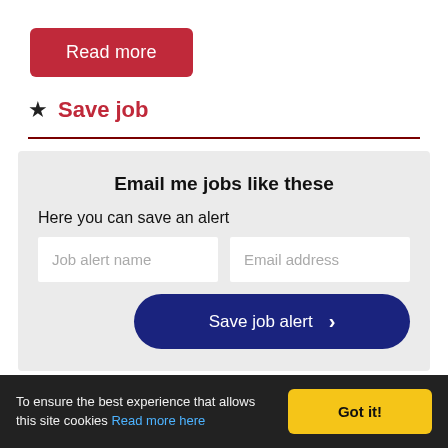Read more
★ Save job
Email me jobs like these
Here you can save an alert
Job alert name
Email address
Save job alert ›
To ensure the best experience that allows this site cookies Read more here
Got it!